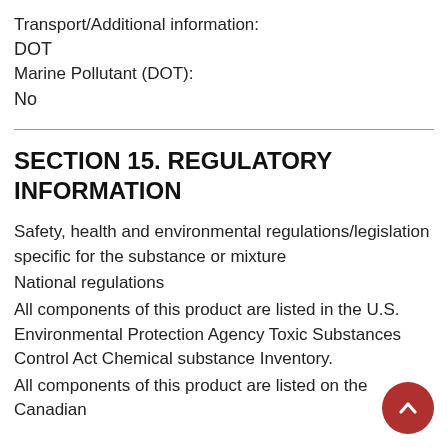Transport/Additional information:
DOT
Marine Pollutant (DOT):
No
SECTION 15. REGULATORY INFORMATION
Safety, health and environmental regulations/legislation specific for the substance or mixture
National regulations
All components of this product are listed in the U.S. Environmental Protection Agency Toxic Substances Control Act Chemical substance Inventory.
All components of this product are listed on the Canadian